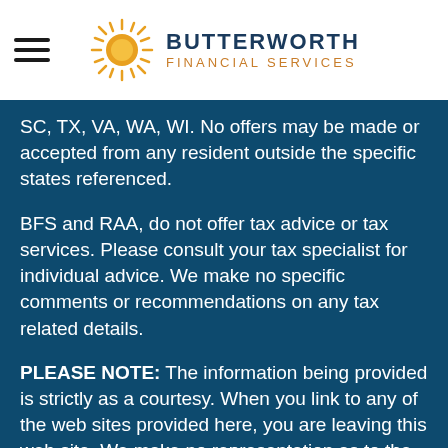Butterworth Financial Services
SC, TX, VA, WA, WI. No offers may be made or accepted from any resident outside the specific states referenced.
BFS and RAA, do not offer tax advice or tax services. Please consult your tax specialist for individual advice. We make no specific comments or recommendations on any tax related details.
PLEASE NOTE: The information being provided is strictly as a courtesy. When you link to any of the web sites provided here, you are leaving this web site. We make no representation as to the completeness or accuracy of information provided at these web sites. Nor is the company liable for any direct or indirect technical or system issues or